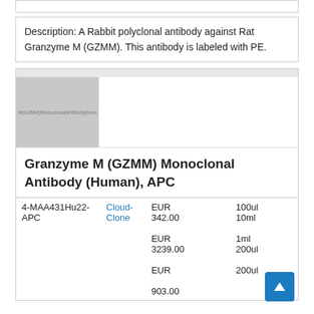Description: A Rabbit polyclonal antibody against Rat Granzyme M (GZMM). This antibody is labeled with PE.
[Figure (photo): Product image placeholder for GZMM Monoclonal Antibody (Human)]
Granzyme M (GZMM) Monoclonal Antibody (Human), APC
|  |  | Price | Size |
| --- | --- | --- | --- |
| 4-MAA431Hu22-APC | Cloud-Clone | EUR 342.00
EUR 3239.00
EUR 903.00 | 100ul
10ml
1ml
200ul
200ul |